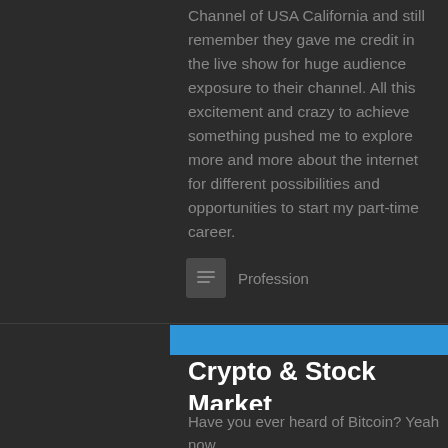Channel of USA California and still remember they gave me credit in the live show for huge audience exposure to their channel. All this excitement and crazy to achieve something pushed me to explore more and more about the internet for different possibilities and opportunities to start my part-time career.
Profession
NOV.06
November 6, 2017   pahulsingh   0
Crypto & Stock Market
Have you ever heard of Bitcoin? Yeah now it's common these days. I have been involved